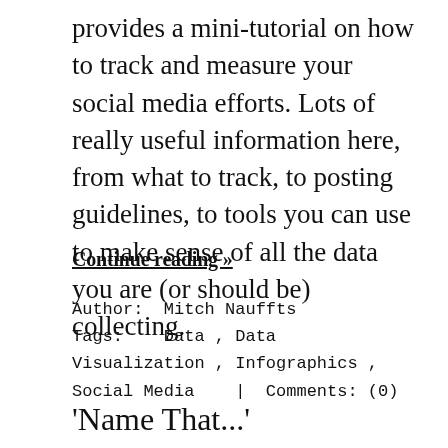provides a mini-tutorial on how to track and measure your social media efforts. Lots of really useful information here, from what to track, to posting guidelines, to tools you can use to make sense of all the data you are (or should be) collecting.
Continue reading »
Author:  Mitch Nauffts
Tags:    Data , Data Visualization , Infographics , Social Media    |   Comments: (0)
'Name That...'